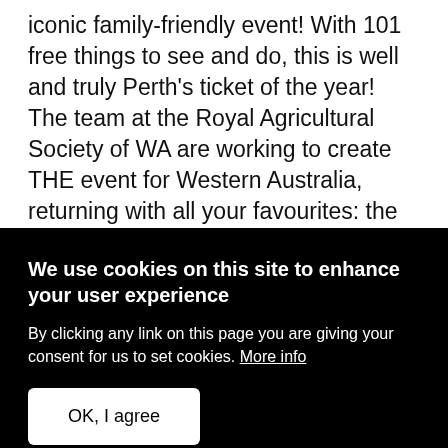iconic family-friendly event! With 101 free things to see and do, this is well and truly Perth's ticket of the year! The team at the Royal Agricultural Society of WA are working to create THE event for Western Australia, returning with all your favourites: the Animal Nursery, competitions like Wood Chopping and Show Jumping, Taste WA, Sideshow Alley, rides and of course the fireworks. But the fun doesn't stop
We use cookies on this site to enhance your user experience
By clicking any link on this page you are giving your consent for us to set cookies. More info
OK, I agree